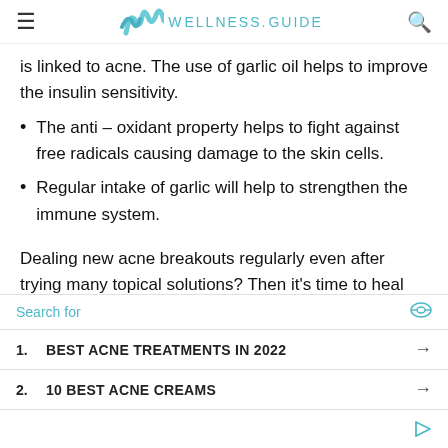WELLNESS.GUIDE
is linked to acne. The use of garlic oil helps to improve the insulin sensitivity.
The anti – oxidant property helps to fight against free radicals causing damage to the skin cells.
Regular intake of garlic will help to strengthen the immune system.
Dealing new acne breakouts regularly even after trying many topical solutions? Then it's time to heal
Search for
1. BEST ACNE TREATMENTS IN 2022 →
2. 10 BEST ACNE CREAMS →